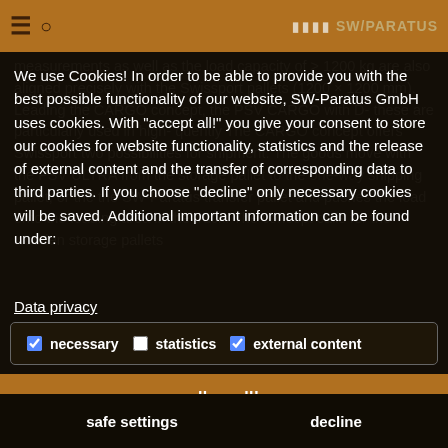SW-PARATUS (logo and navigation bar)
We use Cookies! In order to be able to provide you with the best possible functionality of our website, SW-Paratus GmbH uses cookies. With "accept all!" you give your consent to store our cookies for website functionality, statistics and the release of external content and the transfer of corresponding data to third parties. If you choose "decline" only necessary cookies will be saved. Additional important information can be found under:
Data privacy
necessary  statistics  external content
allow all!
safe settings
decline